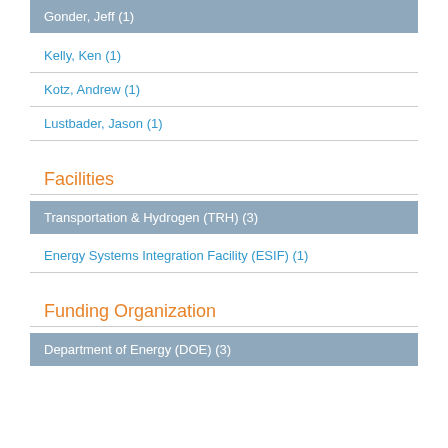Gonder, Jeff (1)
Kelly, Ken (1)
Kotz, Andrew (1)
Lustbader, Jason (1)
Facilities
Transportation & Hydrogen (TRH) (3)
Energy Systems Integration Facility (ESIF) (1)
Funding Organization
Department of Energy (DOE) (3)